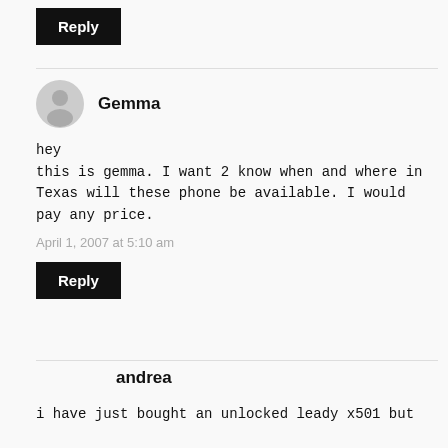Reply (button)
Gemma
hey
this is gemma. I want 2 know when and where in Texas will these phone be available. I would pay any price.
April 1, 2007 at 5:10 am
Reply (button)
andrea
i have just bought an unlocked leady x501 but